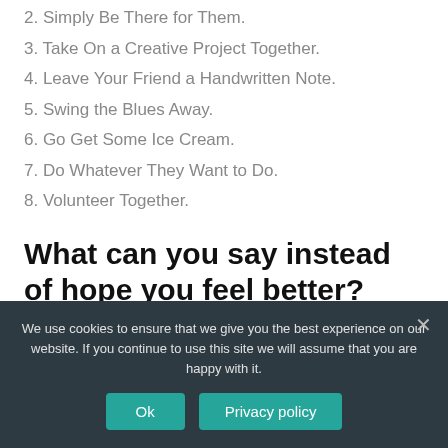2. Simply Be There for Them.
3. Take On a Creative Project Together.
4. Leave Your Friend a Handwritten Note.
5. Swing the Blues Away.
6. Go Get Some Ice Cream.
7. Do Whatever They Want to Do.
8. Volunteer Together.
What can you say instead of hope you feel better?
We use cookies to ensure that we give you the best experience on our website. If you continue to use this site we will assume that you are happy with it.